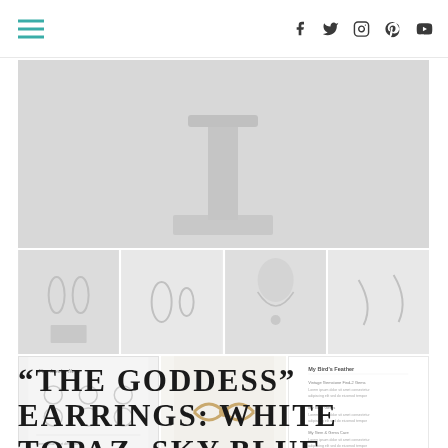Navigation header with hamburger menu and social icons (Facebook, Twitter, Instagram, Pinterest, YouTube)
[Figure (photo): Jewelry product photo collage: large top image of a jewelry display stand on white/grey background, with a grid of 7 smaller product photos showing earrings, necklaces, and a product card with text]
“THE GODDESS” EARRINGS: WHITE TOPAZ, SKY BLUE TOPAZ, & QUARTZ